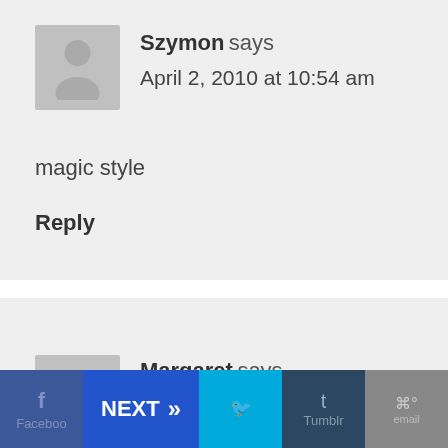Szymon says
April 2, 2010 at 10:54 am
magic style
Reply
Margaret says
April 2, 2010 at 11:24 am
[Figure (infographic): Bottom navigation toolbar with Facebook, NEXT (chevron), Twitter, Tumblr, and email buttons on a black background]